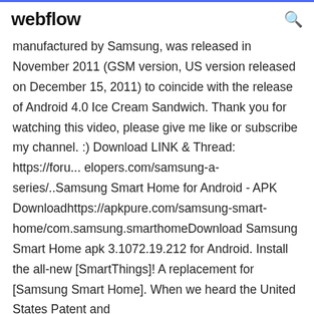webflow
manufactured by Samsung, was released in November 2011 (GSM version, US version released on December 15, 2011) to coincide with the release of Android 4.0 Ice Cream Sandwich. Thank you for watching this video, please give me like or subscribe my channel. :) Download LINK & Thread: https://foru...elopers.com/samsung-a-series/..Samsung Smart Home for Android - APK Downloadhttps://apkpure.com/samsung-smart-home/com.samsung.smarthomeDownload Samsung Smart Home apk 3.1072.19.212 for Android. Install the all-new [SmartThings]! A replacement for [Samsung Smart Home]. When we heard the United States Patent and